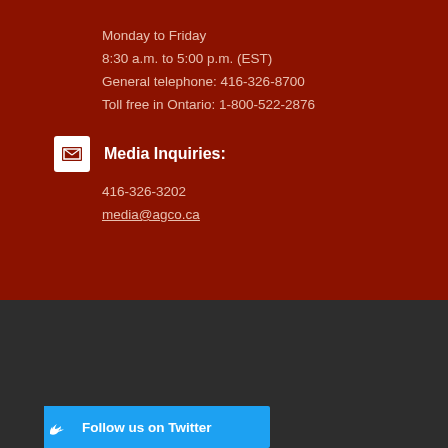Monday to Friday
8:30 a.m. to 5:00 p.m. (EST)
General telephone: 416-326-8700
Toll free in Ontario: 1-800-522-2876
Media Inquiries:
416-326-3202
media@agco.ca
[Figure (logo): AGCO - Alcohol and Gaming Commission of Ontario logo with Ontario provincial coat of arms]
Follow us on Twitter